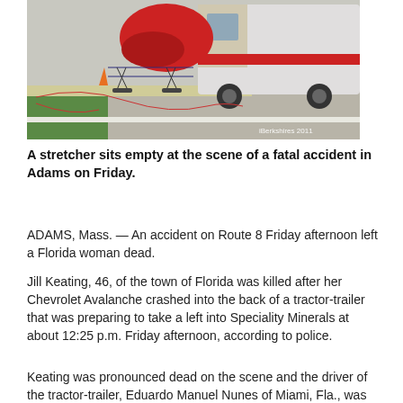[Figure (photo): An empty stretcher sits at the scene of a fatal accident, with a red cloth draped nearby and an ambulance in the background. A red hose is visible on the ground. Watermark reads 'iBerkshires 2011'.]
A stretcher sits empty at the scene of a fatal accident in Adams on Friday.
ADAMS, Mass. — An accident on Route 8 Friday afternoon left a Florida woman dead.
Jill Keating, 46, of the town of Florida was killed after her Chevrolet Avalanche crashed into the back of a tractor-trailer that was preparing to take a left into Speciality Minerals at about 12:25 p.m. Friday afternoon, according to police.
Keating was pronounced dead on the scene and the driver of the tractor-trailer, Eduardo Manuel Nunes of Miami, Fla., was uninjured